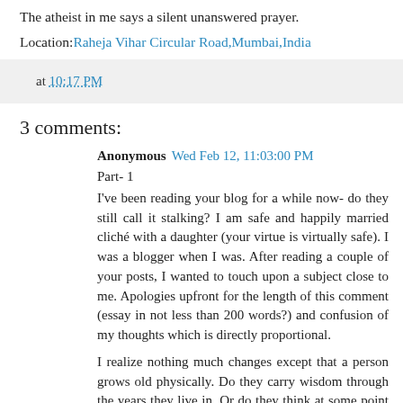The atheist in me says a silent unanswered prayer.
Location: Raheja Vihar Circular Road,Mumbai,India
at 10:17 PM
3 comments:
Anonymous  Wed Feb 12, 11:03:00 PM
Part- 1
I've been reading your blog for a while now- do they still call it stalking? I am safe and happily married cliché with a daughter (your virtue is virtually safe). I was a blogger when I was. After reading a couple of your posts, I wanted to touch upon a subject close to me. Apologies upfront for the length of this comment (essay in not less than 200 words?) and confusion of my thoughts which is directly proportional.
I realize nothing much changes except that a person grows old physically. Do they carry wisdom through the years they live in. Or do they think at some point and perhaps lose it if